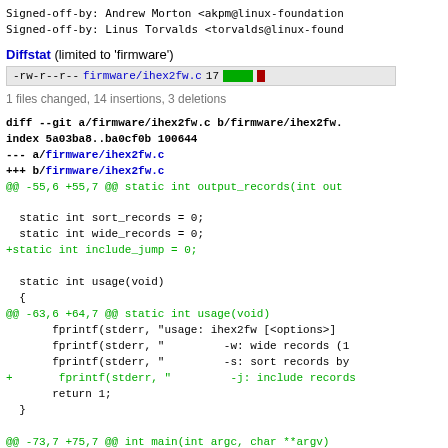Signed-off-by: Andrew Morton <akpm@linux-foundation...
Signed-off-by: Linus Torvalds <torvalds@linux-found...
Diffstat (limited to 'firmware')
| permissions | filename | changes | bar |
| --- | --- | --- | --- |
| -rw-r--r-- | firmware/ihex2fw.c | 17 | [green bar][red bar] |
1 files changed, 14 insertions, 3 deletions
diff --git a/firmware/ihex2fw.c b/firmware/ihex2fw.
index 5a03ba8..ba0cf0b 100644
--- a/firmware/ihex2fw.c
+++ b/firmware/ihex2fw.c
@@ -55,6 +55,7 @@ static int output_records(int out

  static int sort_records = 0;
  static int wide_records = 0;
+static int include_jump = 0;

  static int usage(void)
  {
@@ -63,6 +64,7 @@ static int usage(void)
        fprintf(stderr, "usage: ihex2fw [<options>]
        fprintf(stderr, "          -w: wide records (1
        fprintf(stderr, "          -s: sort records by
+       fprintf(stderr, "          -j: include records
        return 1;
  }

@@ -73,7 +75,7 @@ int main(int argc, char **argv)
        uint8_t *data;